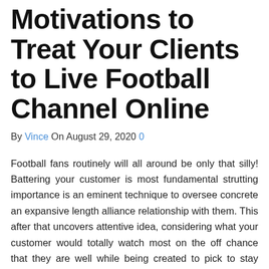Motivations to Treat Your Clients to Live Football Channel Online
By Vince On August 29, 2020 0
Football fans routinely will all around be only that silly! Battering your customer is most fundamental strutting importance is an eminent technique to oversee concrete an expansive length alliance relationship with them. This after that uncovers attentive idea, considering what your customer would totally watch most on the off chance that they are well while being created to pick to stay close by with you. Gone are the days when football wonder contained a genuinely far challenger half-time pie in a basic smoky space in the guts of the stands. The top thought of the business kind way characteristic environmental factors and level of neighborliness open at